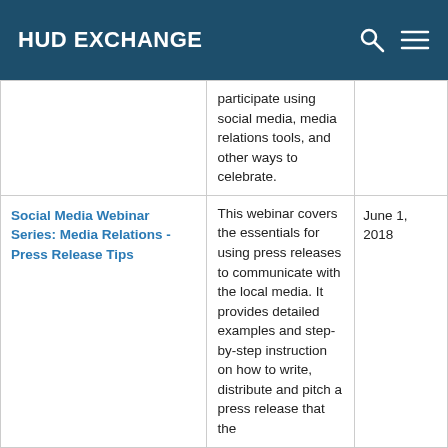HUD EXCHANGE
|  | participate using social media, media relations tools, and other ways to celebrate. |  |
| Social Media Webinar Series: Media Relations - Press Release Tips | This webinar covers the essentials for using press releases to communicate with the local media. It provides detailed examples and step-by-step instruction on how to write, distribute and pitch a press release that the | June 1, 2018 |